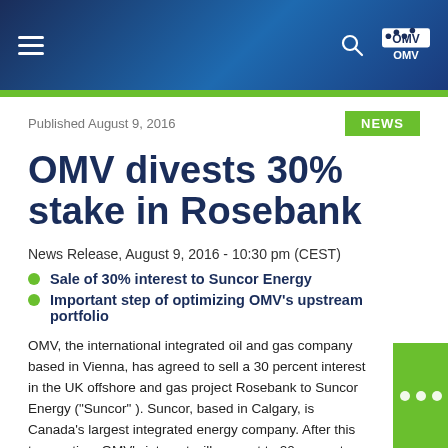OMV navigation bar with hamburger menu, search icon, and OMV logo
OMV divests 30% stake in Rosebank
Published August 9, 2016
NEWS
News Release, August 9, 2016 - 10:30 pm (CEST)
Sale of 30% interest to Suncor Energy
Important step of optimizing OMV's upstream portfolio
OMV, the international integrated oil and gas company based in Vienna, has agreed to sell a 30 percent interest in the UK offshore and gas project Rosebank to Suncor Energy (“Suncor” ). Suncor, based in Calgary, is Canada’s largest integrated energy company. After this transaction, OMV’s interest will amount to 20 percent. The remaining stakes in the Rosebank joint venture are held by the operator